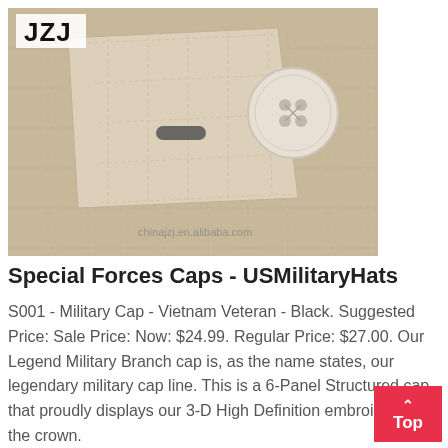[Figure (photo): Close-up photo of beige/tan military cap fabric with stitched square pattern, a buttonhole flap, and a large ivory button. JZJ logo in top-left corner. Watermark: chinajzj.en.alibaba.com]
Special Forces Caps - USMilitaryHats
S001 - Military Cap - Vietnam Veteran - Black. Suggested Price: Sale Price: Now: $24.99. Regular Price: $27.00. Our Legend Military Branch cap is, as the name states, our legendary military cap line. This is a 6-Panel Structured cap that proudly displays our 3-D High Definition embroidery on the crown.